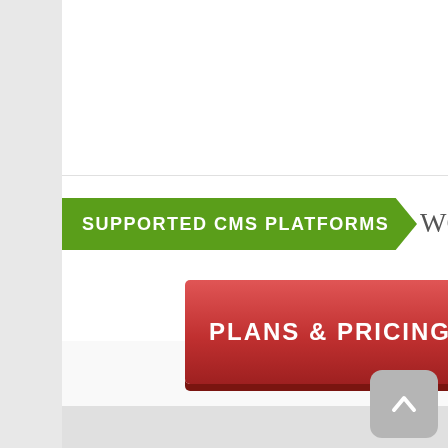don't want the hassle of dealing with infrastructure and servers. We get it. That's w we promise 99.9% uptime.
SUPPORTED CMS PLATFORMS
WordP
PLANS & PRICING